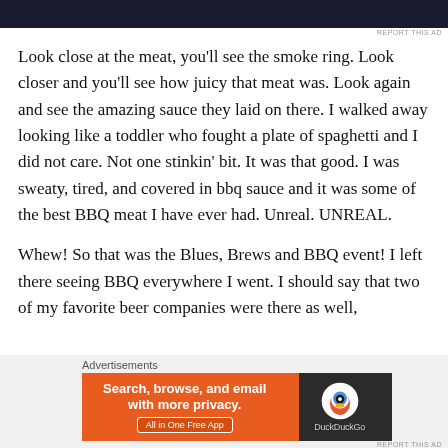[Figure (other): Dark advertisement banner at top of page]
REPORT THIS AD
Look close at the meat, you’ll see the smoke ring. Look closer and you’ll see how juicy that meat was. Look again and see the amazing sauce they laid on there. I walked away looking like a toddler who fought a plate of spaghetti and I did not care. Not one stinkin’ bit. It was that good. I was sweaty, tired, and covered in bbq sauce and it was some of the best BBQ meat I have ever had. Unreal. UNREAL.
Whew! So that was the Blues, Brews and BBQ event! I left there seeing BBQ everywhere I went. I should say that two of my favorite beer companies were there as well,
Advertisements
[Figure (screenshot): DuckDuckGo advertisement banner: Search, browse, and email with more privacy. All in One Free App]